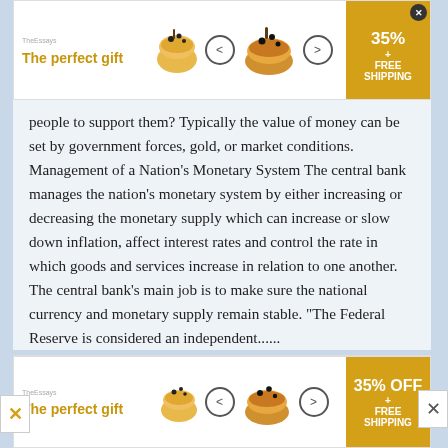[Figure (infographic): Advertisement banner at top: 'The perfect gift' with bowl/food imagery, navigation arrows, and '35% FREE SHIPPING' offer with close button.]
people to support them? Typically the value of money can be set by government forces, gold, or market conditions. Management of a Nation’s Monetary System The central bank manages the nation’s monetary system by either increasing or decreasing the monetary supply which can increase or slow down inflation, affect interest rates and control the rate in which goods and services increase in relation to one another. The central bank’s main job is to make sure the national currency and monetary supply remain stable. “The Federal Reserve is considered an independent......
Words: 820 - Pages: 4
[Figure (infographic): Bottom advertisement banner: 'The perfect gift' with bowl/food imagery, navigation arrows, and '35% OFF + FREE SHIPPING' offer. Left side has a yellow arrow/close button.]